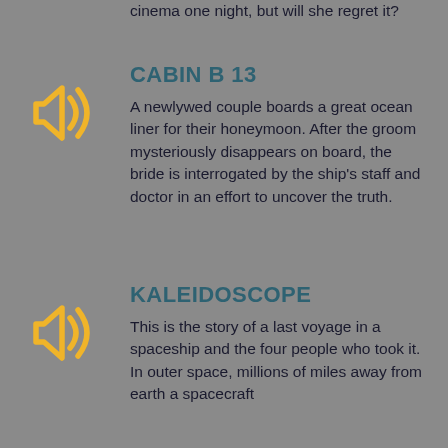cinema one night, but will she regret it?
[Figure (illustration): Yellow speaker/audio icon]
CABIN B 13
A newlywed couple boards a great ocean liner for their honeymoon. After the groom mysteriously disappears on board, the bride is interrogated by the ship's staff and doctor in an effort to uncover the truth.
[Figure (illustration): Yellow speaker/audio icon]
KALEIDOSCOPE
This is the story of a last voyage in a spaceship and the four people who took it. In outer space, millions of miles away from earth a spacecraft